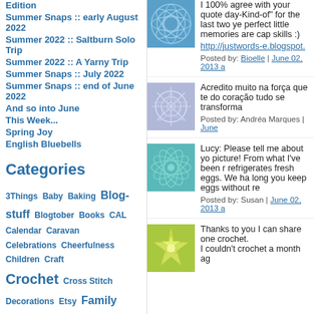Edition
Summer Snaps :: early August 2022
Summer 2022 :: Saltburn Solo Trip
Summer 2022 :: A Yarny Trip
Summer Snaps :: July 2022
Summer Snaps :: end of June 2022
And so into June
This Week...
Spring Joy
English Bluebells
Categories
3Things Baby Baking Blog-stuff Blogtober Books CAL Calendar Caravan Celebrations Cheerfulness Children Craft Crochet Cross Stitch Decorations Etsy Family Flowers Food Food and Drink Friends Furniture Gardening Holidays Home House in-the-bag Inspiration Knitting Lovely*Things magazines
[Figure (illustration): Blue decorative tile image with geometric pattern]
I 100% agree with your quote day-Kind-of" for the last two ye perfect little memories are cap skills :)
http://justwords-e.blogspot.
Posted by: Bioelle | June 02, 2013 a
[Figure (illustration): Blue-purple decorative tile image with star/snowflake pattern]
Acredito muito na força que te do coração tudo se transforma
Posted by: Andréa Marques | June
[Figure (illustration): Teal/green decorative tile image with geometric wave pattern]
Lucy: Please tell me about yo picture! From what I've been r refrigerates fresh eggs. We ha long you keep eggs without re
Posted by: Susan | June 02, 2013 a
[Figure (illustration): Yellow-green decorative tile image with sunburst/flower pattern]
Thanks to you I can share one crochet. I couldn't crochet a month ag